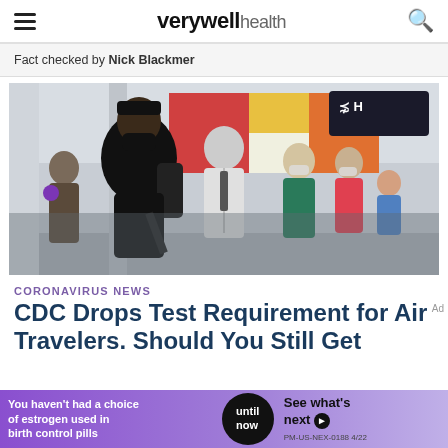verywell health
Fact checked by Nick Blackmer
[Figure (photo): Travelers wearing masks walk through a busy airport terminal. A person in black with a backpack and mask is prominent in the foreground; other travelers with and without masks are visible in the background, along with colorful artwork and airport signage.]
CORONAVIRUS NEWS
CDC Drops Test Requirement for Air Travelers. Should You Still Get
You haven't had a choice of estrogen used in birth control pills until now See what's next PM-US-NEX-0188 4/22